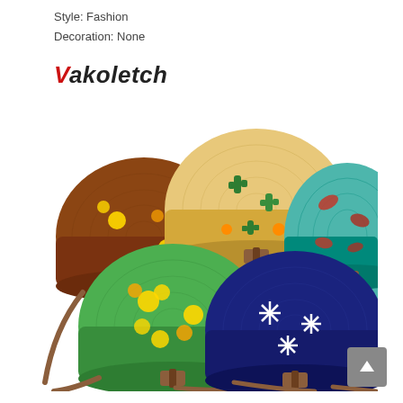Style: Fashion
Decoration: None
[Figure (logo): Vakoletch brand logo in bold italic font with red V and black remaining text]
[Figure (photo): Five round wicker/rattan crossbody bags arranged together. Colors: brown with yellow flowers, yellow/straw with green cactus pattern, teal/turquoise with rust/red leaf pattern, green with yellow pinwheel pattern, navy blue with white snowflake pattern. Each bag has a brown leather strap and clasp.]